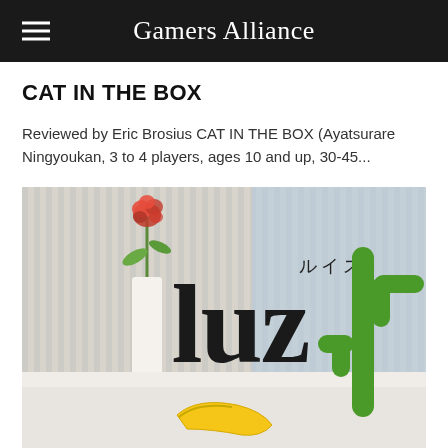Gamers Alliance
CAT IN THE BOX
Reviewed by Eric Brosius CAT IN THE BOX (Ayatsurare Ningyoukan, 3 to 4 players, ages 10 and up, 30-45...
[Figure (photo): Box art for the board game 'Cat in the Box' / 'luz' showing a rose in a vase, Japanese text reading 'ルイス' (Louis), the word 'luz' in large black letters, a green cactus, and a yellow banana at the bottom, on a light striped background.]